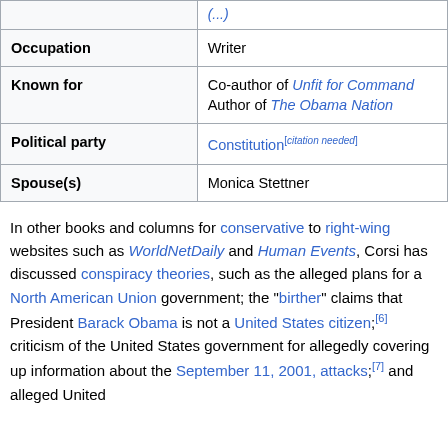| Field | Value |
| --- | --- |
|  | (n/a) |
| Occupation | Writer |
| Known for | Co-author of Unfit for Command
Author of The Obama Nation |
| Political party | Constitution[citation needed] |
| Spouse(s) | Monica Stettner |
In other books and columns for conservative to right-wing websites such as WorldNetDaily and Human Events, Corsi has discussed conspiracy theories, such as the alleged plans for a North American Union government; the "birther" claims that President Barack Obama is not a United States citizen;[6] criticism of the United States government for allegedly covering up information about the September 11, 2001, attacks;[7] and alleged United